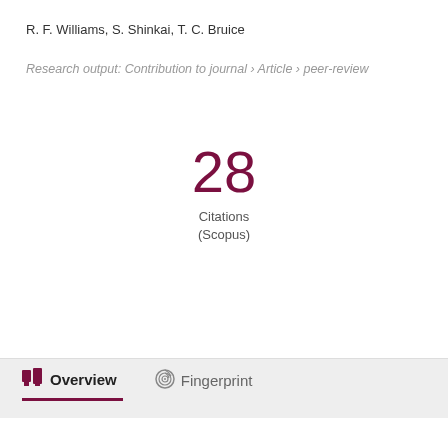R. F. Williams, S. Shinkai, T. C. Bruice
Research output: Contribution to journal › Article › peer-review
28
Citations
(Scopus)
Overview
Fingerprint